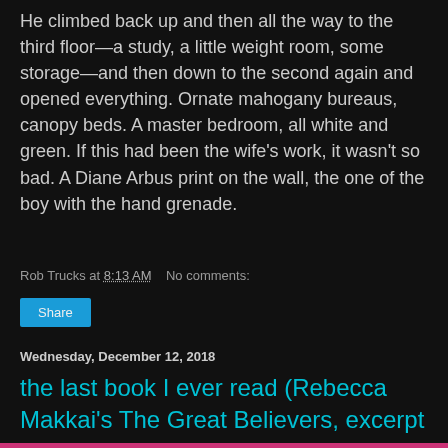He climbed back up and then all the way to the third floor—a study, a little weight room, some storage—and then down to the second again and opened everything. Ornate mahogany bureaus, canopy beds. A master bedroom, all white and green. If this had been the wife's work, it wasn't so bad. A Diane Arbus print on the wall, the one of the boy with the hand grenade.
Rob Trucks at 8:13 AM   No comments:
Share
Wednesday, December 12, 2018
the last book I ever read (Rebecca Makkai's The Great Believers, excerpt one)